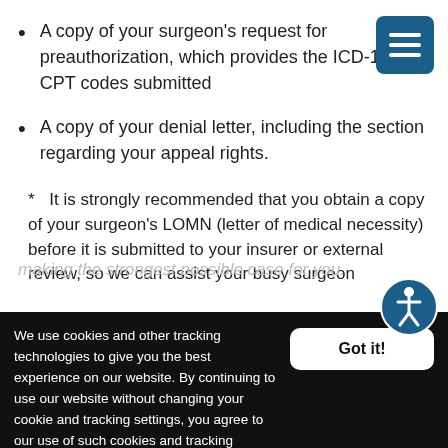A copy of your surgeon’s request for preauthorization, which provides the ICD-10 and CPT codes submitted
A copy of your denial letter, including the section regarding your appeal rights.
* It is strongly recommended that you obtain a copy of your surgeon’s LOMN (letter of medical necessity) before it is submitted to your insurer or external review, so we can assist your busy surgeon making the strongest possible case for you.
We use cookies and other tracking technologies to give you the best experience on our website. By continuing to use our website without changing your cookie and tracking settings, you agree to our use of such cookies and tracking technologies in accordance with our policies. Learn more